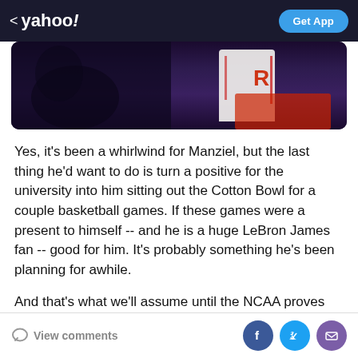< yahoo!  Get App
[Figure (photo): A partial view of a basketball player wearing a Houston Rockets white jersey with red lettering, set against a dark purple/black background with red elements at the bottom.]
Yes, it's been a whirlwind for Manziel, but the last thing he'd want to do is turn a positive for the university into him sitting out the Cotton Bowl for a couple basketball games. If these games were a present to himself -- and he is a huge LeBron James fan -- good for him. It's probably something he's been planning for awhile.
And that's what we'll assume until the NCAA proves otherwise.
View comments